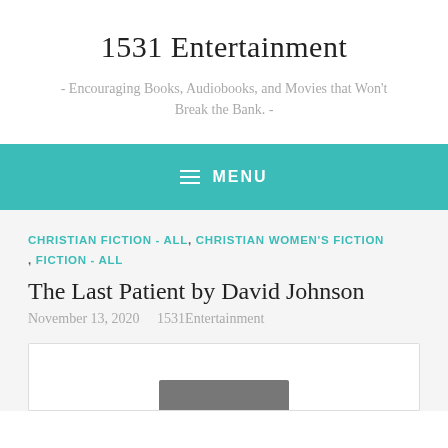1531 Entertainment
- Encouraging Books, Audiobooks, and Movies that Won't Break the Bank. -
MENU
CHRISTIAN FICTION - ALL , CHRISTIAN WOMEN'S FICTION , FICTION - ALL
The Last Patient by David Johnson
November 13, 2020   1531Entertainment
[Figure (photo): Partial image visible at bottom of page inside a white bordered box]